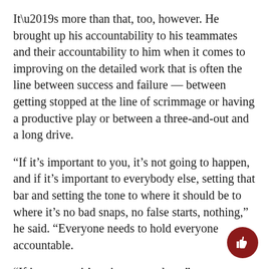It’s more than that, too, however. He brought up his accountability to his teammates and their accountability to him when it comes to improving on the detailed work that is often the line between success and failure — between getting stopped at the line of scrimmage or having a productive play or between a three-and-out and a long drive.
“If it’s important to you, it’s not going to happen, and if it’s important to everybody else, setting that bar and setting the tone to where it should be to where it’s no bad snaps, no false starts, nothing,” he said. “Everyone needs to hold everyone accountable.
“If it matters, it’s going to get done.”
Jurgens said he wants the offensive line to be “tone-setters” for their side of the ball this year. He said th the way it should be all the time.